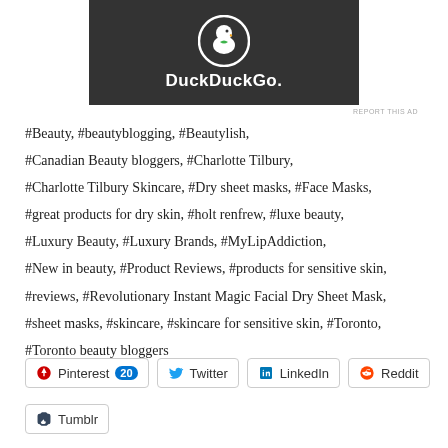[Figure (screenshot): DuckDuckGo advertisement banner with orange sides and dark center showing duck logo and 'DuckDuckGo.' text]
#Beauty, #beautyblogging, #Beautylish, #Canadian Beauty bloggers, #Charlotte Tilbury, #Charlotte Tilbury Skincare, #Dry sheet masks, #Face Masks, #great products for dry skin, #holt renfrew, #luxe beauty, #Luxury Beauty, #Luxury Brands, #MyLipAddiction, #New in beauty, #Product Reviews, #products for sensitive skin, #reviews, #Revolutionary Instant Magic Facial Dry Sheet Mask, #sheet masks, #skincare, #skincare for sensitive skin, #Toronto, #Toronto beauty bloggers